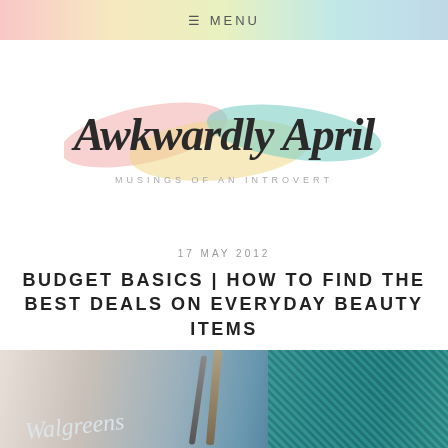≡ MENU
[Figure (logo): Awkwardly April blog logo with colorful brush strokes and script text, subtitle reads MUSINGS OF AN INTROVERT]
17 MAY 2012
BUDGET BASICS | HOW TO FIND THE BEST DEALS ON EVERYDAY BEAUTY ITEMS
[Figure (photo): Photo showing Walgreens branded beauty products and a teal snake-print accessory]